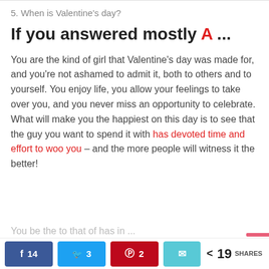5. When is Valentine's day?
If you answered mostly A ...
You are the kind of girl that Valentine’s day was made for, and you’re not ashamed to admit it, both to others and to yourself. You enjoy life, you allow your feelings to take over you, and you never miss an opportunity to celebrate. What will make you the happiest on this day is to see that the guy you want to spend it with has devoted time and effort to woo you – and the more people will witness it the better!
14  3  2  19 SHARES